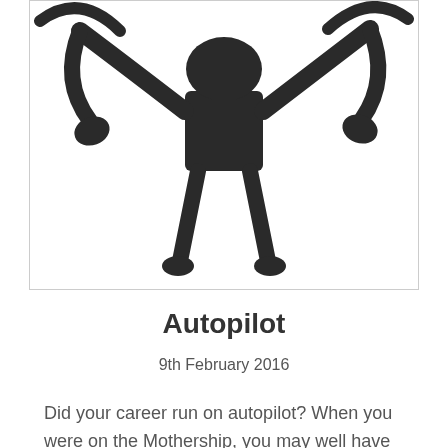[Figure (illustration): Hand-drawn black ink illustration of an abstract figure, appearing to be a person or creature with arms raised, viewed from above or in a stylized posture, rendered in bold brushstroke style on white background.]
Autopilot
9th February 2016
Did your career run on autopilot? When you were on the Mothership, you may well have been  following a career progression and had a rough idea where you were headed in the next year or two, or perhaps even longer. Even if it wasn't particularly structured, there